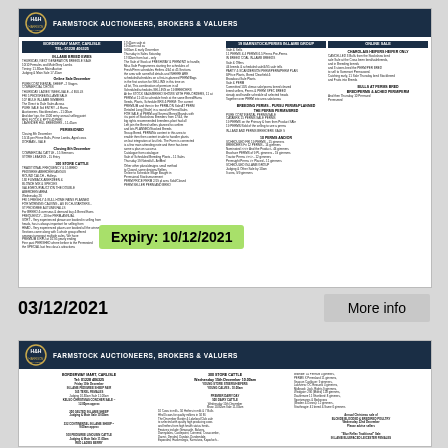[Figure (other): H&H Farmstock Auctioneers, Brokers & Valuers document card showing sale listings for Borderway Mart Carlisle with in-lamb sheep, cattle and other livestock sales. Has a green expiry overlay showing '10/12/2021'.]
03/12/2021
More info
[Figure (other): H&H Farmstock Auctioneers, Brokers & Valuers document card showing 300 Store Cattle, Young Store Steers/Heifers, Young Calves, Premier Dairy Day, 500 Dairy Cattle sale listings at Borderway Mart Carlisle on Friday 10th December.]